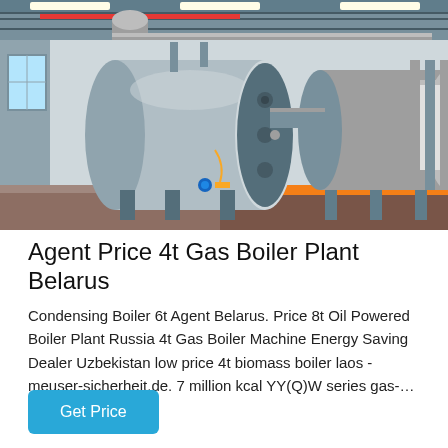[Figure (photo): Industrial gas boiler plant interior showing large horizontal cylindrical stainless steel boilers with blue end caps, red and grey overhead pipes, orange floor supports, fluorescent lighting on ceiling in a factory/plant setting.]
Agent Price 4t Gas Boiler Plant Belarus
Condensing Boiler 6t Agent Belarus. Price 8t Oil Powered Boiler Plant Russia 4t Gas Boiler Machine Energy Saving Dealer Uzbekistan low price 4t biomass boiler laos - meuser-sicherheit.de. 7 million kcal YY(Q)W series gas-…